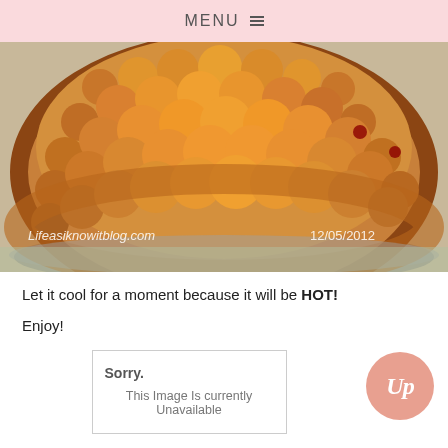MENU
[Figure (photo): Close-up photo of a golden-brown baked pie with a bumpy lattice/bubble crust top, sitting in a foil pie pan. Watermark text 'Lifeasiknowitblog.com' on lower left and '12/05/2012' on lower right.]
Let it cool for a moment because it will be HOT!
Enjoy!
[Figure (other): Sorry. This Image Is currently Unavailable — placeholder image box]
[Figure (logo): Circular logo with 'Up' script text in white on a pink/salmon background]